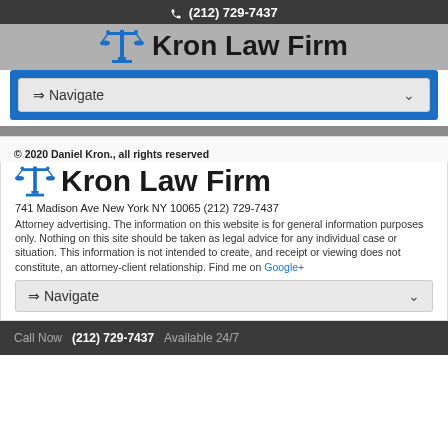(212) 729-7437  Kron Law Firm
[Figure (screenshot): Navigation dropdown with arrow showing Navigate option, inside blue border box]
© 2020 Daniel Kron., all rights reserved
Kron Law Firm
741 Madison Ave New York NY 10065 (212) 729-7437
Attorney advertising. The information on this website is for general information purposes only. Nothing on this site should be taken as legal advice for any individual case or situation. This information is not intended to create, and receipt or viewing does not constitute, an attorney-client relationship. Find me on Google+
[Figure (screenshot): Navigation dropdown with arrow showing Navigate option]
Call Now  (212) 729-7437  Available 24/7